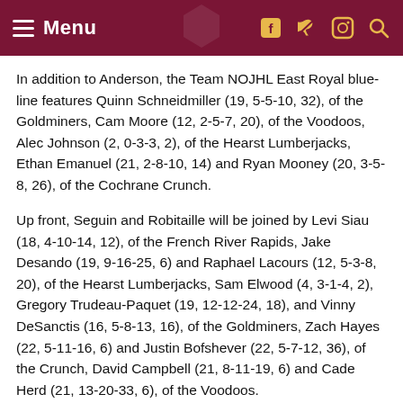Menu
In addition to Anderson, the Team NOJHL East Royal blue-line features Quinn Schneidmiller (19, 5-5-10, 32), of the Goldminers, Cam Moore (12, 2-5-7, 20), of the Voodoos, Alec Johnson (2, 0-3-3, 2), of the Hearst Lumberjacks, Ethan Emanuel (21, 2-8-10, 14) and Ryan Mooney (20, 3-5-8, 26), of the Cochrane Crunch.
Up front, Seguin and Robitaille will be joined by Levi Siau (18, 4-10-14, 12), of the French River Rapids, Jake Desando (19, 9-16-25, 6) and Raphael Lacours (12, 5-3-8, 20), of the Hearst Lumberjacks, Sam Elwood (4, 3-1-4, 2), Gregory Trudeau-Paquet (19, 12-12-24, 18), and Vinny DeSanctis (16, 5-8-13, 16), of the Goldminers, Zach Hayes (22, 5-11-16, 6) and Justin Bofshever (22, 5-7-12, 36), of the Crunch, David Campbell (21, 8-11-19, 6) and Cade Herd (21, 13-20-33, 6), of the Voodoos.
Director of operations for Team NOJHL East Royal is